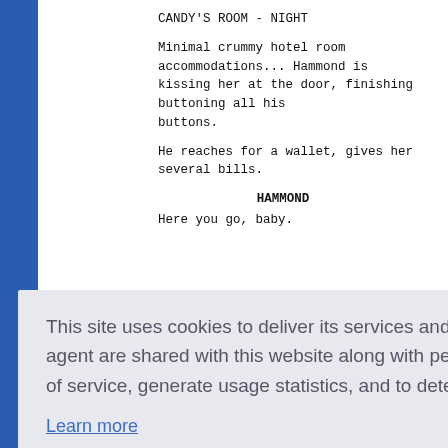CANDY'S ROOM - NIGHT
Minimal crummy hotel room accommodations... Hammond is kissing her at the door, finishing buttoning all his buttons.
He reaches for a wallet, gives her several bills.
HAMMOND
Here you go, baby.
s the doo
nd walks ..
HAMMOND
I'll be back in six months.  Maybe
This site uses cookies to deliver its services and to analyze traffic. Your IP address and user-agent are shared with this website along with performance and security metrics to ensure quality of service, generate usage statistics, and to detect and address abuse.
Learn more
Got it!